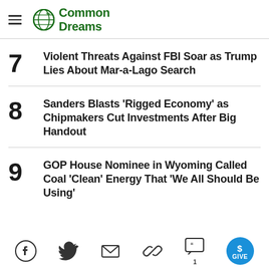Common Dreams
7 Violent Threats Against FBI Soar as Trump Lies About Mar-a-Lago Search
8 Sanders Blasts 'Rigged Economy' as Chipmakers Cut Investments After Big Handout
9 GOP House Nominee in Wyoming Called Coal 'Clean' Energy That 'We All Should Be Using'
Facebook Twitter Email Link Comment 1 GIVE